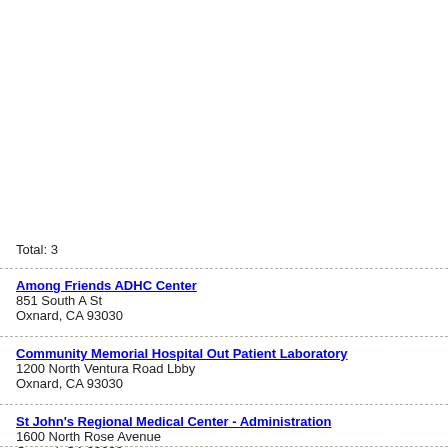Total: 3
Among Friends ADHC Center
851 South A St
Oxnard, CA 93030
Community Memorial Hospital Out Patient Laboratory
1200 North Ventura Road Lbby
Oxnard, CA 93030
St John's Regional Medical Center - Administration
1600 North Rose Avenue
Oxnard, CA 93030